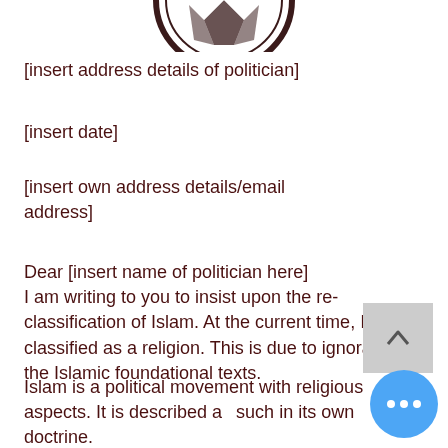[Figure (logo): Partial circular logo/emblem at top center, cropped]
[insert address details of politician]
[insert date]
[insert own address details/email address]
Dear [insert name of politician here]
I am writing to you to insist upon the re-classification of Islam. At the current time, Islam is classified as a religion. This is due to ignorance of the Islamic foundational texts.
Islam is a political movement with religious aspects. It is described as such in its own doctrine.